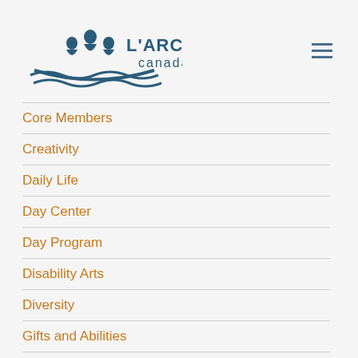[Figure (logo): L'Arche Canada logo with stylized boat and three figures in dark blue, with 'L'ARCHE canada' text]
Core Members
Creativity
Daily Life
Day Center
Day Program
Disability Arts
Diversity
Gifts and Abilities
Gratitude
History
Inclusion
Institutions
Intentional Community